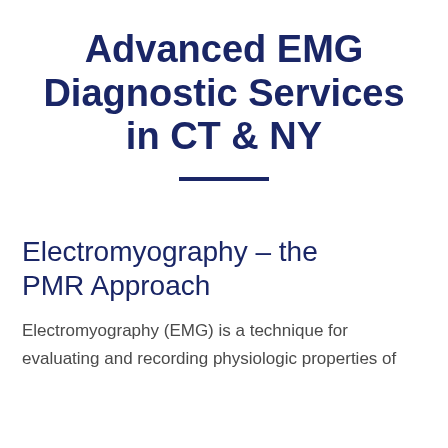Advanced EMG Diagnostic Services in CT & NY
Electromyography – the PMR Approach
Electromyography (EMG) is a technique for evaluating and recording physiologic properties of